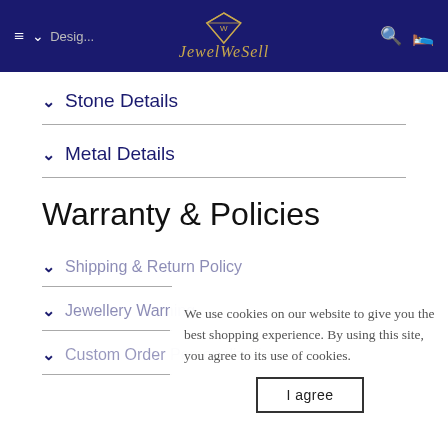JewelWeSell navigation bar
Stone Details
Metal Details
Warranty & Policies
Shipping & Return Policy
Jewellery Warning
Custom Order Personalization
We use cookies on our website to give you the best shopping experience. By using this site, you agree to its use of cookies.
I agree